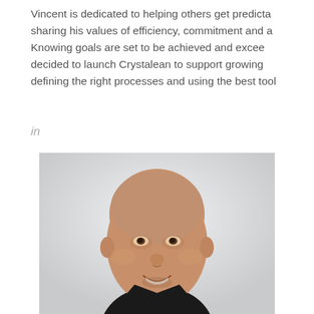Vincent is dedicated to helping others get predicta sharing his values of efficiency, commitment and a Knowing goals are set to be achieved and excee decided to launch Crystalean to support growing defining the right processes and using the best tool
in
[Figure (photo): Portrait photo of a bald, smiling man wearing a dark top, against a light grey background.]